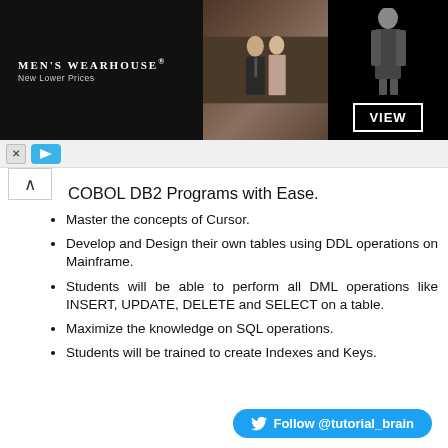[Figure (photo): Men's Wearhouse advertisement banner with couple in formal wear and a mannequin model. Text reads MEN'S WEARHOUSE New Lower Prices with a VIEW button.]
COBOL DB2 Programs with Ease.
Master the concepts of Cursor.
Develop and Design their own tables using DDL operations on Mainframe.
Students will be able to perform all DML operations like INSERT, UPDATE, DELETE and SELECT on a table.
Maximize the knowledge on SQL operations.
Students will be trained to create Indexes and Keys.
Follow @tutorial_brain